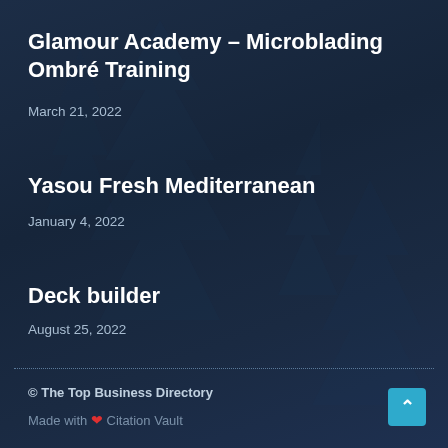Glamour Academy – Microblading Ombré Training
March 21, 2022
Yasou Fresh Mediterranean
January 4, 2022
Deck builder
August 25, 2022
© The Top Business Directory
Made with ❤ Citation Vault